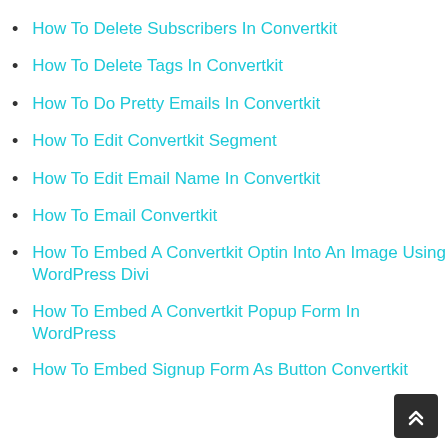How To Delete Subscribers In Convertkit
How To Delete Tags In Convertkit
How To Do Pretty Emails In Convertkit
How To Edit Convertkit Segment
How To Edit Email Name In Convertkit
How To Email Convertkit
How To Embed A Convertkit Optin Into An Image Using WordPress Divi
How To Embed A Convertkit Popup Form In WordPress
How To Embed Signup Form As Button Convertkit